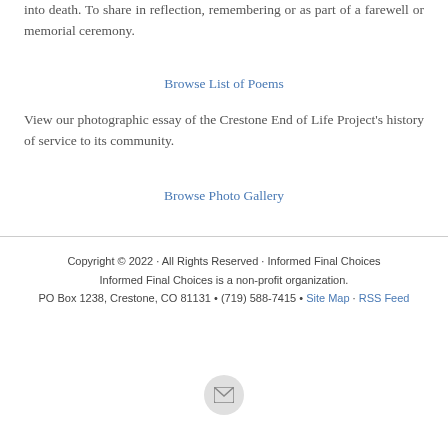into death. To share in reflection, remembering or as part of a farewell or memorial ceremony.
Browse List of Poems
View our photographic essay of the Crestone End of Life Project's history of service to its community.
Browse Photo Gallery
Copyright © 2022 · All Rights Reserved · Informed Final Choices
Informed Final Choices is a non-profit organization.
PO Box 1238, Crestone, CO 81131 • (719) 588-7415 • Site Map · RSS Feed